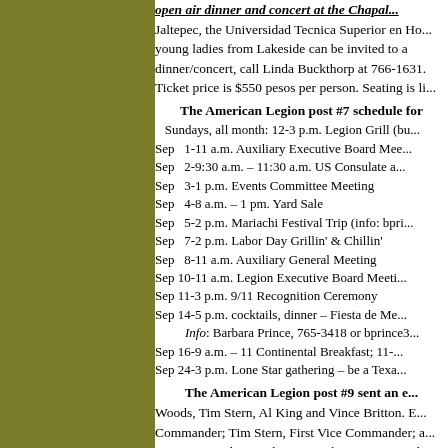open air dinner and concert at the Chapala... Jaltepec, the Universidad Tecnica Superior en Ho... young ladies from Lakeside can be invited to a dinner/concert, call Linda Buckthorp at 766-1631. Ticket price is $550 pesos per person. Seating is li...
The American Legion post #7 schedule for
Sundays, all month: 12-3 p.m. Legion Grill (bu...
Sep  1-11 a.m. Auxiliary Executive Board Mee...
Sep  2-9:30 a.m. – 11:30 a.m. US Consulate a...
Sep  3-1 p.m. Events Committee Meeting
Sep  4-8 a.m. – 1 pm. Yard Sale
Sep  5-2 p.m. Mariachi Festival Trip (info: bpri...
Sep  7-2 p.m. Labor Day Grillin' & Chillin'
Sep  8-11 a.m. Auxiliary General Meeting
Sep 10-11 a.m. Legion Executive Board Meeti...
Sep 11-3 p.m. 9/11 Recognition Ceremony
Sep 14-5 p.m. cocktails, dinner – Fiesta de Me...
Info: Barbara Prince, 765-3418 or bprince3...
Sep 16-9 a.m. – 11 Continental Breakfast; 11-...
Sep 24-3 p.m. Lone Star gathering – be a Texa...
The American Legion post #9 sent an e...
Woods, Tim Stern, Al King and Vince Britton. E... Commander; Tim Stern, First Vice Commander; a... Tim Stern, Mike Woods, National Vice Commande...